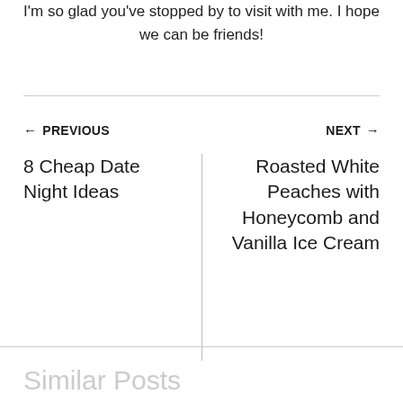I'm so glad you've stopped by to visit with me. I hope we can be friends!
← PREVIOUS
NEXT →
8 Cheap Date Night Ideas
Roasted White Peaches with Honeycomb and Vanilla Ice Cream
Similar Posts